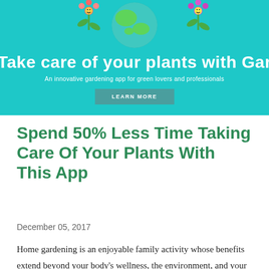[Figure (illustration): Banner for a gardening app called GardenR with teal/cyan background, two cartoon flower characters and a globe illustration. Title reads 'Take care of your plants with Garder' (truncated), subtitle 'An innovative gardening app for green lovers and professionals', and a 'LEARN MORE' button.]
Spend 50% Less Time Taking Care Of Your Plants With This App
December 05, 2017
Home gardening is an enjoyable family activity whose benefits extend beyond your body's wellness, the environment, and your wallet. There's the versatility of growing whatever pleases you all year round. There's al...